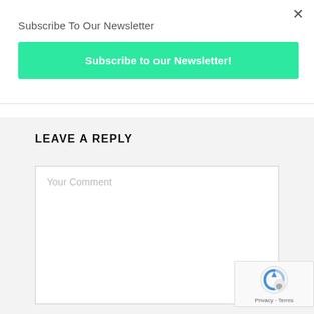×
Subscribe To Our Newsletter
[Figure (other): Green button labeled 'Subscribe to our Newsletter!']
LEAVE A REPLY
[Figure (other): Text area input field with placeholder 'Your Comment']
[Figure (other): reCAPTCHA badge with Privacy and Terms links]